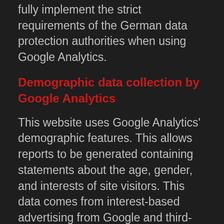fully implement the strict requirements of the German data protection authorities when using Google Analytics.
Demographic data collection by Google Analytics
This website uses Google Analytics' demographic features. This allows reports to be generated containing statements about the age, gender, and interests of site visitors. This data comes from interest-based advertising from Google and third-party visitor data. This collected data cannot be attributed to any specific individual person. You can disable this feature at any time by adjusting the ads settings